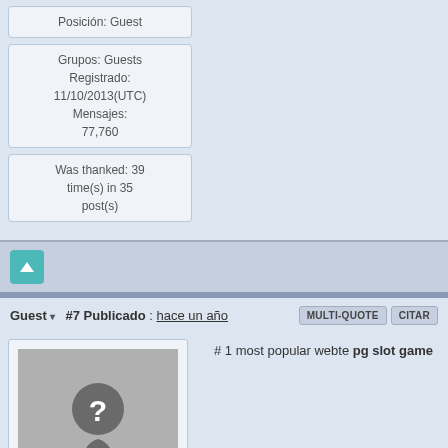Posición: Guest
Grupos: Guests
Registrado: 11/10/2013(UTC)
Mensajes: 77,760
Was thanked: 39 time(s) in 35 post(s)
#7 Publicado : hace un año
Guest
[Figure (illustration): Default user avatar with question mark silhouette]
# 1 most popular webte pg slot game
Posición: Guest
Grupos: Guests
Registrado: